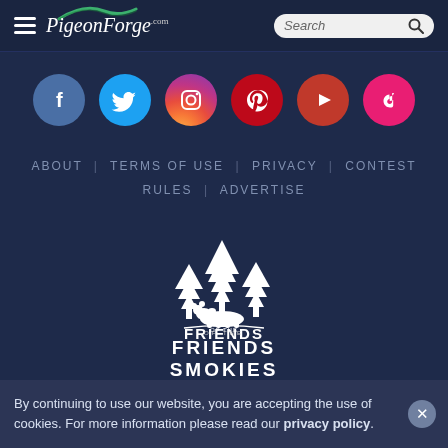[Figure (logo): PigeonForge.com website header with hamburger menu icon, PigeonForge.com logo with green arc, and search box]
[Figure (infographic): Row of six social media icon circles: Facebook (blue), Twitter (light blue), Instagram (gradient), Pinterest (red), YouTube/Play (dark red), TikTok (pink)]
ABOUT | TERMS OF USE | PRIVACY | CONTEST RULES | ADVERTISE
[Figure (logo): Friends of the Smokies white logo with pine trees and bear silhouette]
By continuing to use our website, you are accepting the use of cookies. For more information please read our privacy policy.